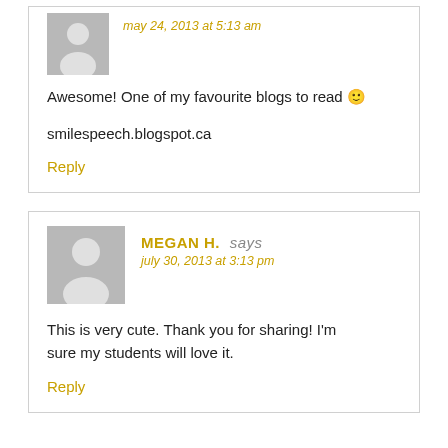may 24, 2013 at 5:13 am
Awesome! One of my favourite blogs to read 🙂
smilespeech.blogspot.ca
Reply
MEGAN H. says
july 30, 2013 at 3:13 pm
This is very cute. Thank you for sharing! I'm sure my students will love it.
Reply